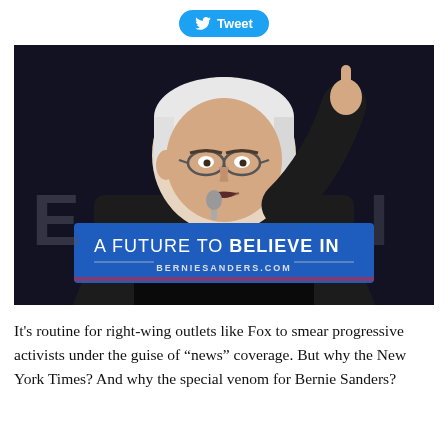[Figure (other): Tweet button with Twitter bird icon and text 'Tweet']
[Figure (photo): Bernie Sanders speaking at a campaign rally, pointing with one finger raised, behind a podium with a blue sign reading 'A FUTURE TO BELIEVE IN' and 'BERNIESANDERS.COM']
It's routine for right-wing outlets like Fox to smear progressive activists under the guise of “news” coverage. But why the New York Times? And why the special venom for Bernie Sanders?